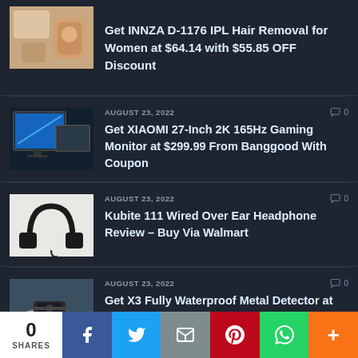[Figure (photo): Product photo of INNZA D-1176 IPL Hair Removal device for women]
Get INNZA D-1176 IPL Hair Removal for Women at $64.14 with $55.85 OFF Discount
[Figure (photo): Photo of XIAOMI 27-Inch 2K 165Hz Gaming Monitor]
AUGUST 23, 2022
0
Get XIAOMI 27-Inch 2K 165Hz Gaming Monitor at $299.99 From Banggood With Coupon
[Figure (photo): Photo of Kubite 111 Wired Over Ear Headphone]
AUGUST 23, 2022
0
Kubite 111 Wired Over Ear Headphone Review – Buy Via Walmart
[Figure (photo): Photo of X3 Fully Waterproof Metal Detector]
AUGUST 23, 2022
0
Get X3 Fully Waterproof Metal Detector at
0 SHARES  Facebook  Twitter  Email  Pinterest  WhatsApp  More